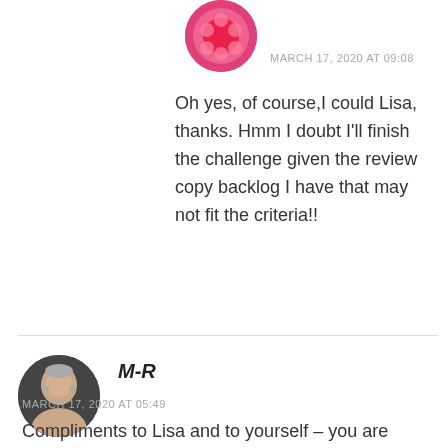[Figure (photo): Round avatar with pink/magenta floral or abstract pattern, partially cropped at top]
MARCH 17, 2020 AT 09:08
Oh yes, of course,I could Lisa, thanks. Hmm I doubt I'll finish the challenge given the review copy backlog I have that may not fit the criteria!!
[Figure (photo): Round avatar showing an older woman with short grey hair wearing earrings, against a dark background]
M-R
MARCH 17, 2020 AT 05:49
Compliments to Lisa and to yourself – you are worthy ladies ! 🙂 If I can just work out a way of preventing my